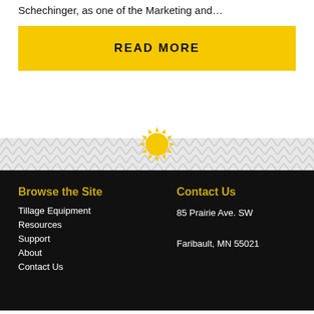Schechinger, as one of the Marketing and…
READ MORE
[Figure (illustration): Yellow sunburst/gear icon centered above footer, with chevron/zigzag pattern background strip]
Browse the Site
Tillage Equipment
Resources
Support
About
Contact Us
Contact Us
85 Prairie Ave. SW
Faribault, MN 55021